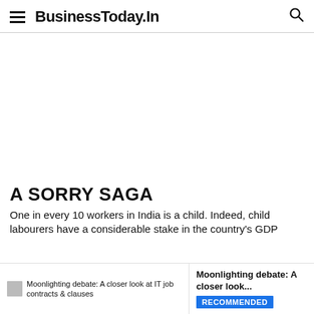BusinessToday.In
A SORRY SAGA
One in every 10 workers in India is a child. Indeed, child labourers have a considerable stake in the country's GDP
Moonlighting debate: A closer look at IT job contracts & clauses
Moonlighting debate: A closer look...
RECOMMENDED